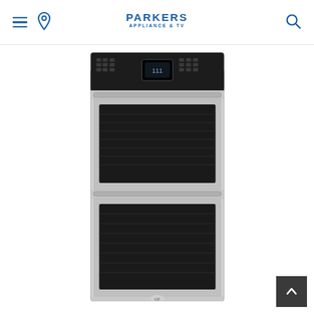Parkers Appliance & TV navigation header with hamburger menu, location pin, logo, and search icon
[Figure (photo): GE stainless steel double wall oven with black control panel at top, two oven cavities each with dark glass door and stainless steel handle, displayed on white background]
[Figure (other): Back to top button — dark grey square with upward chevron arrow in white]